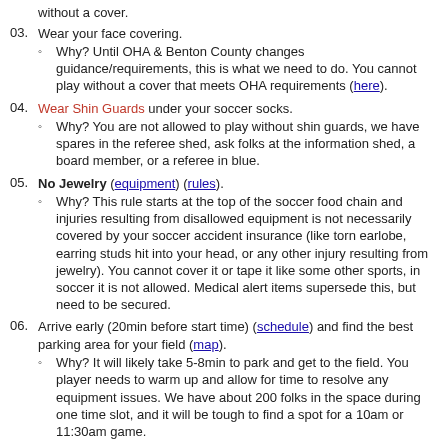without a cover.
03. Wear your face covering.
04. Wear Shin Guards under your soccer socks.
05. No Jewelry (equipment) (rules).
06. Arrive early (20min before start time) (schedule) and find the best parking area for your field (map).
07. Do not park on grass or park in entrances to fenced parking areas.